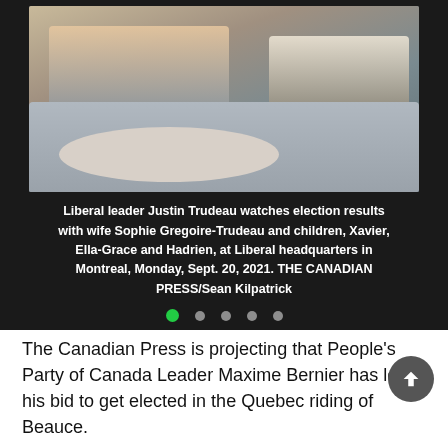[Figure (photo): Liberal leader Justin Trudeau watching election results with his family on a sofa around a round white table at Liberal headquarters in Montreal]
Liberal leader Justin Trudeau watches election results with wife Sophie Gregoire-Trudeau and children, Xavier, Ella-Grace and Hadrien, at Liberal headquarters in Montreal, Monday, Sept. 20, 2021. THE CANADIAN PRESS/Sean Kilpatrick
The Canadian Press is projecting that People's Party of Canada Leader Maxime Bernier has lost his bid to get elected in the Quebec riding of Beauce.